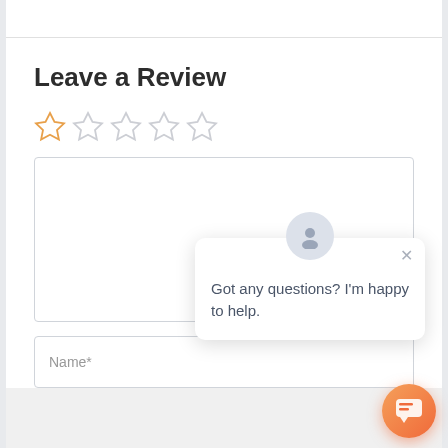Leave a Review
[Figure (other): Five-star rating widget with first star highlighted in orange, remaining four stars in light gray outline]
[Figure (other): Large empty text area input box for review text]
[Figure (other): Chat popup with avatar icon showing 'Got any questions? I'm happy to help.' and a close X button]
[Figure (other): Orange gradient chat/support button in bottom right corner]
Name*